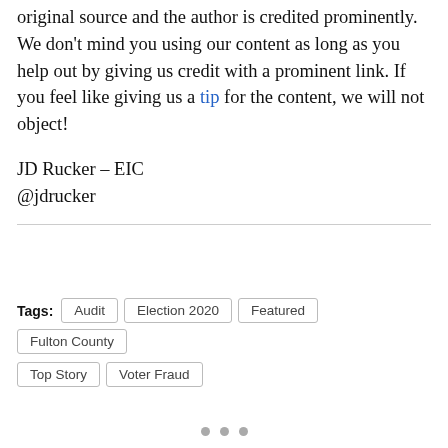original source and the author is credited prominently. We don’t mind you using our content as long as you help out by giving us credit with a prominent link. If you feel like giving us a tip for the content, we will not object!
JD Rucker – EIC
@jdrucker
Tags: Audit  Election 2020  Featured  Fulton County  Top Story  Voter Fraud